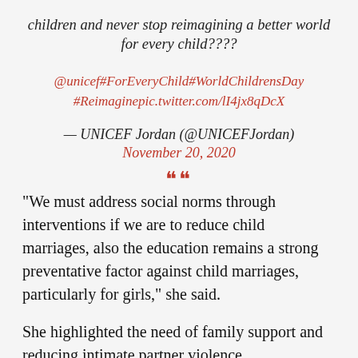children and never stop reimagining a better world for every child????
@unicef#ForEveryChild#WorldChildrensDay #Reimaginepic.twitter.com/lI4jx8qDcX
— UNICEF Jordan (@UNICEFJordan) November 20, 2020
“We must address social norms through interventions if we are to reduce child marriages, also the education remains a strong preventative factor against child marriages, particularly for girls,” she said.
She highlighted the need of family support and reducing intimate partner violence